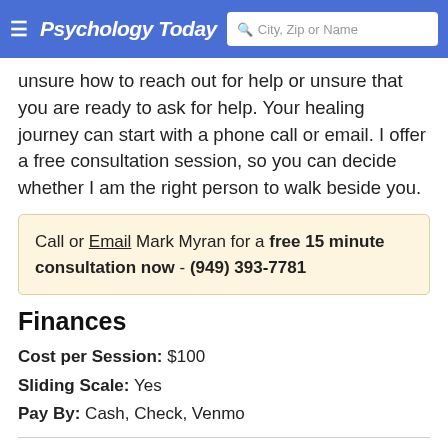Psychology Today | City, Zip or Name
unsure how to reach out for help or unsure that you are ready to ask for help. Your healing journey can start with a phone call or email. I offer a free consultation session, so you can decide whether I am the right person to walk beside you.
Call or Email Mark Myran for a free 15 minute consultation now - (949) 393-7781
Finances
Cost per Session: $100
Sliding Scale: Yes
Pay By: Cash, Check, Venmo